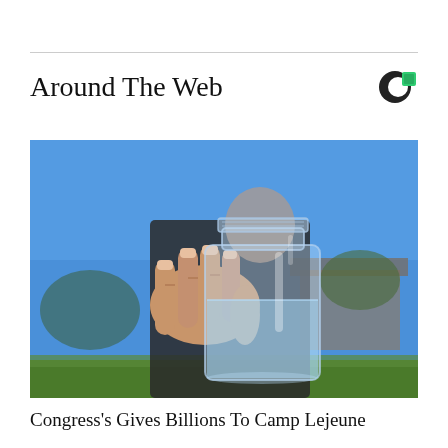Around The Web
[Figure (photo): Person holding up a clear glass mason jar filled with water toward the camera, outdoors with blue sky and house in background]
Congress's Gives Billions To Camp Lejeune